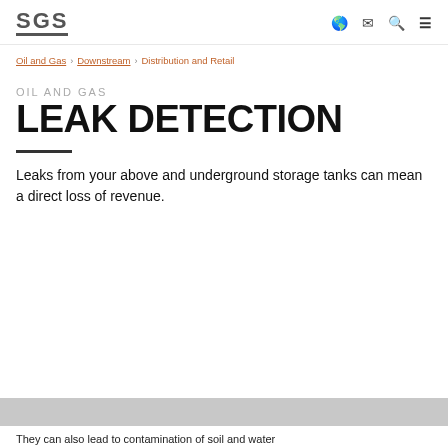SGS | Oil and Gas › Downstream › Distribution and Retail
OIL AND GAS
LEAK DETECTION
Leaks from your above and underground storage tanks can mean a direct loss of revenue.
[Figure (photo): Photo strip at bottom of page]
They can also lead to contamination of soil and water